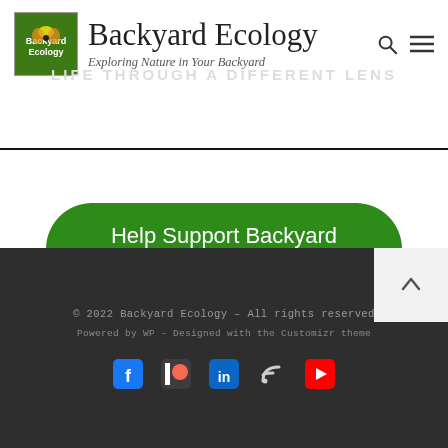Backyard Ecology — Exploring Nature in Your Backyard
Help Support Backyard Ecology
© 2022 Backyard Ecology – All rights reserved
Powered by WP – Designed with the Customizr theme